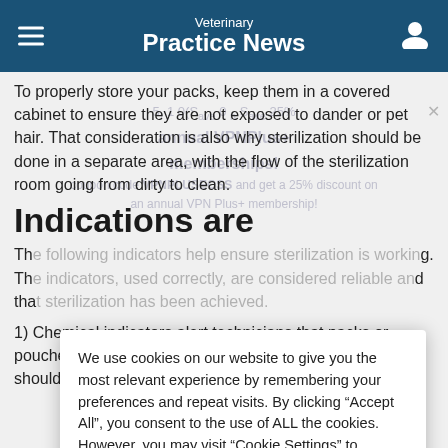Veterinary Practice News
To properly store your packs, keep them in a covered cabinet to ensure they are not exposed to dander or pet hair. That consideration is also why sterilization should be done in a separate area, with the flow of the sterilization room going from dirty to clean.
Indications are
We use cookies on our website to give you the most relevant experience by remembering your preferences and repeat visits. By clicking “Accept All”, you consent to the use of ALL the cookies. However, you may visit “Cookie Settings” to provide a controlled consent.
1) Chemical indicators alert technicians that packs or pouches have been exposed to steam. As such, they should be put inside